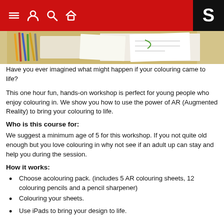Navigation header with menu, user, search, home icons and S logo
[Figure (photo): Cropped photo of colouring pencils and papers on a desk]
Have you ever imagined what might happen if your colouring came to life?
This one hour fun, hands-on workshop is perfect for young people who enjoy colouring in. We show you how to use the power of AR (Augmented Reality) to bring your colouring to life.
Who is this course for:
We suggest a minimum age of 5 for this workshop. If you not quite old enough but you love colouring in why not see if an adult up can stay and help you during the session.
How it works:
Choose acolouring pack. (includes 5 AR colouring sheets, 12 colouring pencils and a pencil sharpener)
Colouring your sheets.
Use iPads to bring your design to life.